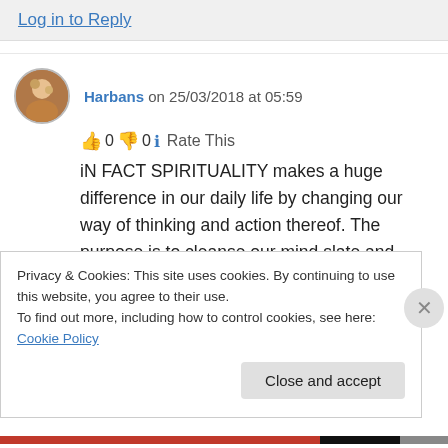Log in to Reply
Harbans on 25/03/2018 at 05:59
👍 0 👎 0 ℹ Rate This
iN FACT SPIRITUALITY makes a huge difference in our daily life by changing our way of thinking and action thereof. The purpose is to cleanse our mind slate and seek for connectivity with our Creator sincerely. There may come
Privacy & Cookies: This site uses cookies. By continuing to use this website, you agree to their use.
To find out more, including how to control cookies, see here: Cookie Policy